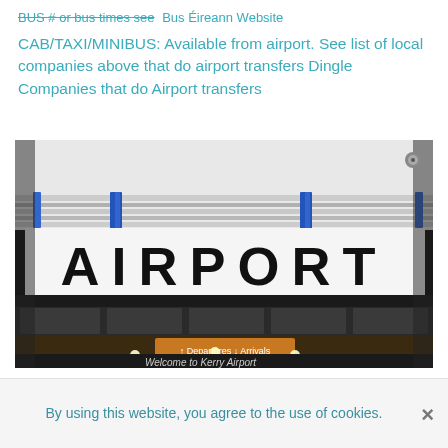BUS # or bus times see Bus Éireann Website
CAB/TAXI/MINIBUS: Available from airport. See list of local companies above that do airport transfers Dingle Companies that do Airport transfers
[Figure (photo): Airport entrance sign reading 'AIRPORT' in large black letters on white background, with striped canopy above and Departures/Arrivals sign below, showing entrance to Kerry Airport with 'Welcome to Kerry Airport' text partially visible at bottom.]
By using this website, you agree to the use of cookies.